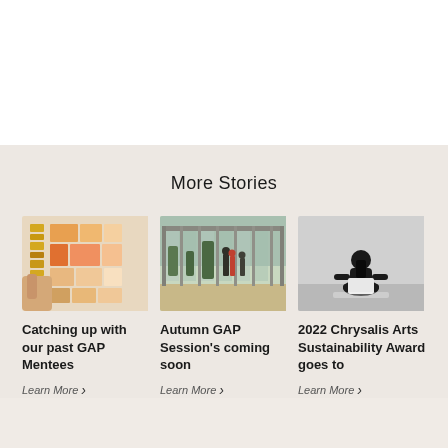More Stories
[Figure (photo): Hand holding colorful orange and yellow paper color swatches arranged in a grid]
Catching up with our past GAP Mentees
Learn More →
[Figure (photo): Glass-walled greenhouse or gallery building with people silhouetted inside]
Autumn GAP Session's coming soon
Learn More →
[Figure (photo): Black and white photo of a person sitting cross-legged on a floor in a gallery space]
2022 Chrysalis Arts Sustainability Award goes to
Learn More →